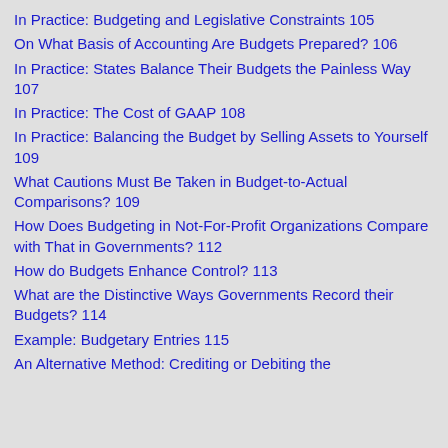In Practice: Budgeting and Legislative Constraints 105
On What Basis of Accounting Are Budgets Prepared? 106
In Practice: States Balance Their Budgets the Painless Way 107
In Practice: The Cost of GAAP 108
In Practice: Balancing the Budget by Selling Assets to Yourself 109
What Cautions Must Be Taken in Budget-to-Actual Comparisons? 109
How Does Budgeting in Not-For-Profit Organizations Compare with That in Governments? 112
How do Budgets Enhance Control? 113
What are the Distinctive Ways Governments Record their Budgets? 114
Example: Budgetary Entries 115
An Alternative Method: Crediting or Debiting the